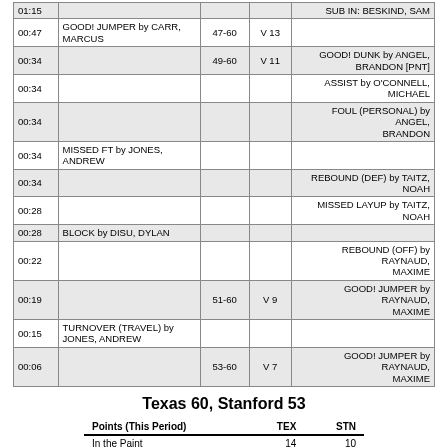| Time | Home | Score | Margin | Visitor |
| --- | --- | --- | --- | --- |
| 01:15 |  |  |  | SUB IN: BESKIND, SAM |
| 00:47 | GOOD! JUMPER by CARR, MARCUS | 47-60 | V 13 |  |
| 00:34 |  | 49-60 | V 11 | GOOD! DUNK by ANGEL, BRANDON [PNT] |
| 00:34 |  |  |  | ASSIST by O'CONNELL, MICHAEL |
| 00:34 |  |  |  | FOUL (PERSONAL) by ANGEL, BRANDON |
| 00:34 | MISSED FT by JONES, ANDREW |  |  |  |
| 00:34 |  |  |  | REBOUND (DEF) by TAITZ, NOAH |
| 00:28 |  |  |  | MISSED LAYUP by TAITZ, NOAH |
| 00:28 | BLOCK by DISU, DYLAN |  |  |  |
| 00:22 |  |  |  | REBOUND (OFF) by RAYNAUD, MAXIME |
| 00:19 |  | 51-60 | V 9 | GOOD! JUMPER by RAYNAUD, MAXIME |
| 00:15 | TURNOVER (TRAVEL) by JONES, ANDREW |  |  |  |
| 00:06 |  | 53-60 | V 7 | GOOD! JUMPER by RAYNAUD, MAXIME |
Texas 60, Stanford 53
| Points (This Period) | TEX | STN |
| --- | --- | --- |
| In the Paint | 14 | 10 |
| Off Turns | 14 | 8 |
| 2nd Chance | 2 | 4 |
| Fast Break | 2 | 2 |
| Bench | 10 | 11 |
| Per Poss | 0.788
13/33 | 0.722
13/36 |